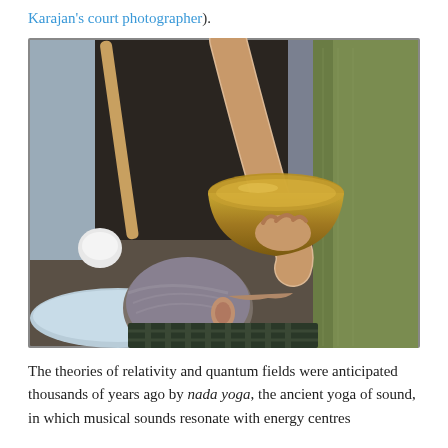Karajan's court photographer).
[Figure (photo): A person lying down receiving a singing bowl therapy session. A practitioner holds a metal singing bowl near the person's neck/head area. A mallet with a white head is visible to the left side, and the practitioner's arm and green clothing are visible on the right.]
The theories of relativity and quantum fields were anticipated thousands of years ago by nada yoga, the ancient yoga of sound, in which musical sounds resonate with energy centres